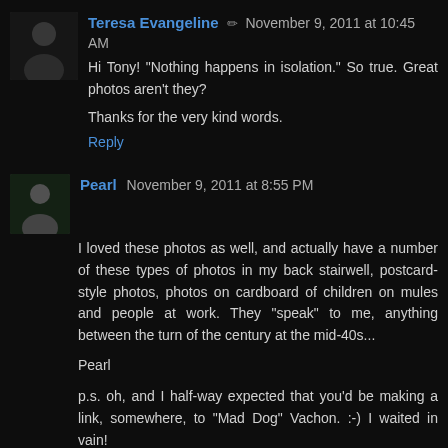Teresa Evangeline ✏ November 9, 2011 at 10:45 AM
Hi Tony! "Nothing happens in isolation." So true. Great photos aren't they?

Thanks for the very kind words.
Reply
Pearl November 9, 2011 at 8:55 PM
I loved these photos as well, and actually have a number of these types of photos in my back stairwell, postcard-style photos, photos on cardboard of children on mules and people at work. They "speak" to me, anything between the turn of the century at the mid-40s...

Pearl

p.s. oh, and I half-way expected that you'd be making a link, somewhere, to "Mad Dog" Vachon. :-) I waited in vain!